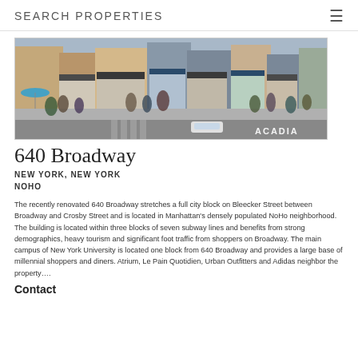SEARCH PROPERTIES
[Figure (photo): Street-level photo of 640 Broadway showing a busy urban sidewalk with pedestrians, storefronts, and street scene on Broadway in New York. ACADIA watermark in lower right.]
640 Broadway
NEW YORK, NEW YORK
NOHO
The recently renovated 640 Broadway stretches a full city block on Bleecker Street between Broadway and Crosby Street and is located in Manhattan's densely populated NoHo neighborhood. The building is located within three blocks of seven subway lines and benefits from strong demographics, heavy tourism and significant foot traffic from shoppers on Broadway. The main campus of New York University is located one block from 640 Broadway and provides a large base of millennial shoppers and diners. Atrium, Le Pain Quotidien, Urban Outfitters and Adidas neighbor the property….
Contact